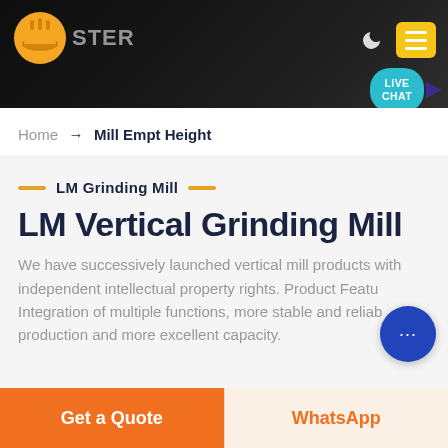[Figure (screenshot): Website header banner with dark rocky/mining background, orange logo icon on left, navigation icons (moon and yellow menu button) on right, and a teal LIVE CHAT speech bubble in lower right]
Home → Mill Empt Height
LM Grinding Mill
LM Vertical Grinding Mill
We have successively launched vertical mill products with independent intellectual property rights. Product Features: Integration of multiple functions, more stable and reliable production and more excellent capacity.